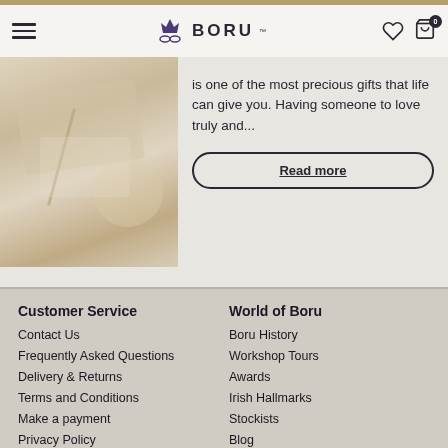BORU
[Figure (photo): Close-up photo of jewelry making materials on a light surface]
is one of the most precious gifts that life can give you. Having someone to love truly and...
Read more
Customer Service
Contact Us
Frequently Asked Questions
Delivery & Returns
Terms and Conditions
Make a payment
Privacy Policy
World of Boru
Boru History
Workshop Tours
Awards
Irish Hallmarks
Stockists
Blog